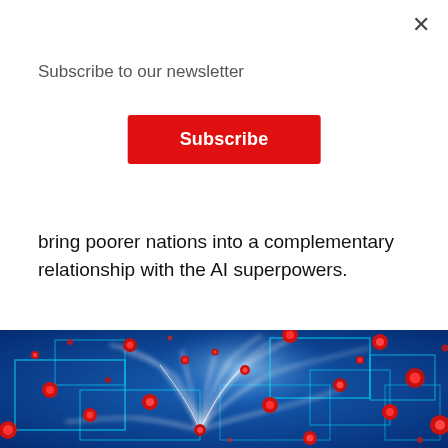×
Subscribe to our newsletter
Subscribe
bring poorer nations into a complementary relationship with the AI superpowers.
[Figure (illustration): Digital AI brain illustration on blue background with glowing white neural network connections and red sphere nodes, with cyan circuit-board rectangle overlays]